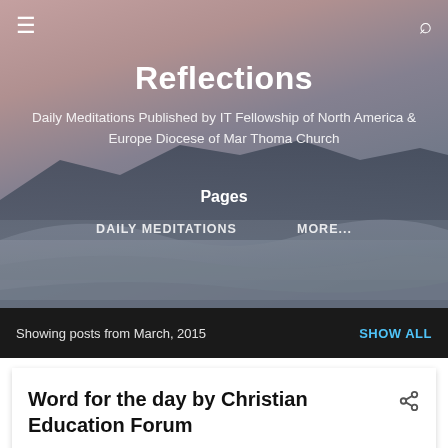[Figure (screenshot): Hero background image of a mountain landscape at dusk with purple-pink sky and misty sand dunes]
Reflections
Daily Meditations Published by IT Fellowship of North America & Europe Diocese of Mar Thoma Church
Pages
DAILY MEDITATIONS
MORE...
Showing posts from March, 2015
SHOW ALL
Word for the day by Christian Education Forum
- March 31, 2015